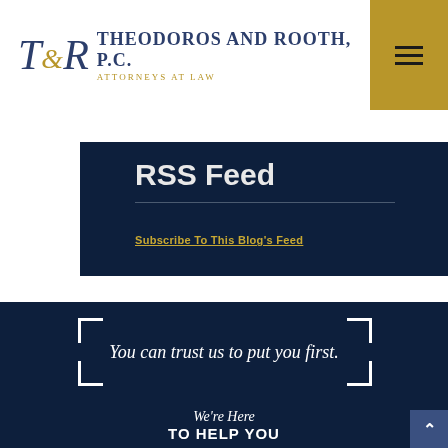[Figure (logo): Theodoros and Rooth, P.C. Attorneys At Law law firm logo with T&R monogram]
RSS Feed
Subscribe To This Blog's Feed
You can trust us to put you first.
We're Here TO HELP YOU